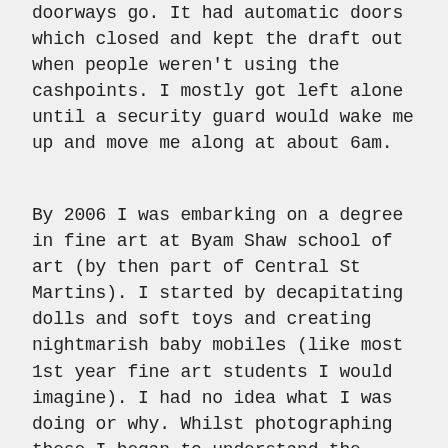doorways go. It had automatic doors which closed and kept the draft out when people weren't using the cashpoints. I mostly got left alone until a security guard would wake me up and move me along at about 6am.
By 2006 I was embarking on a degree in fine art at Byam Shaw school of art (by then part of Central St Martins). I started by decapitating dolls and soft toys and creating nightmarish baby mobiles (like most 1st year fine art students I would imagine). I had no idea what I was doing or why. Whilst photographing these I began to understand the significance of some of the objects I was using and why I was drawn to them.